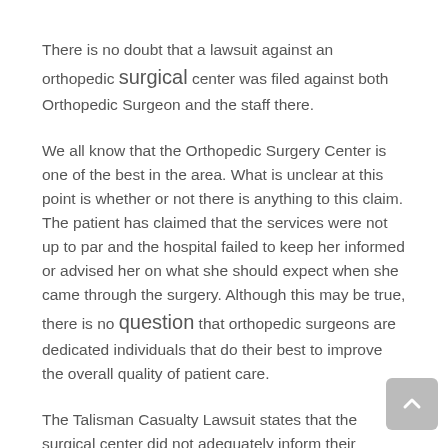There is no doubt that a lawsuit against an orthopedic surgical center was filed against both Orthopedic Surgeon and the staff there.
We all know that the Orthopedic Surgery Center is one of the best in the area. What is unclear at this point is whether or not there is anything to this claim. The patient has claimed that the services were not up to par and the hospital failed to keep her informed or advised her on what she should expect when she came through the surgery. Although this may be true, there is no question that orthopedic surgeons are dedicated individuals that do their best to improve the overall quality of patient care.
The Talisman Casualty Lawsuit states that the surgical center did not adequately inform their patient about the chances of complications with the procedure. They